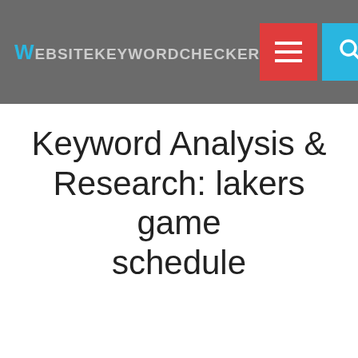WEBSITEKEYWORDCHECKER
Keyword Analysis & Research: lakers game schedule